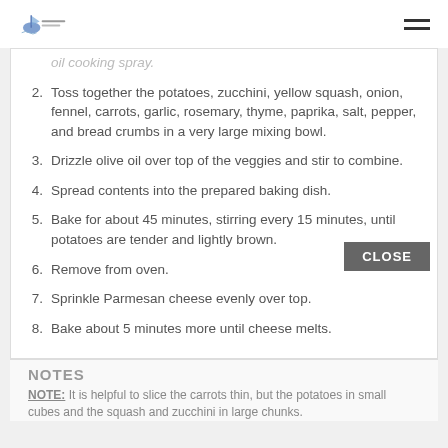[Logo] [Hamburger menu]
oil cooking spray.
Toss together the potatoes, zucchini, yellow squash, onion, fennel, carrots, garlic, rosemary, thyme, paprika, salt, pepper, and bread crumbs in a very large mixing bowl.
Drizzle olive oil over top of the veggies and stir to combine.
Spread contents into the prepared baking dish.
Bake for about 45 minutes, stirring every 15 minutes, until potatoes are tender and lightly brown.
Remove from oven.
Sprinkle Parmesan cheese evenly over top.
Bake about 5 minutes more until cheese melts.
NOTES
NOTE: It is helpful to slice the carrots thin, but the potatoes in small cubes and the squash and zucchini in large chunks.